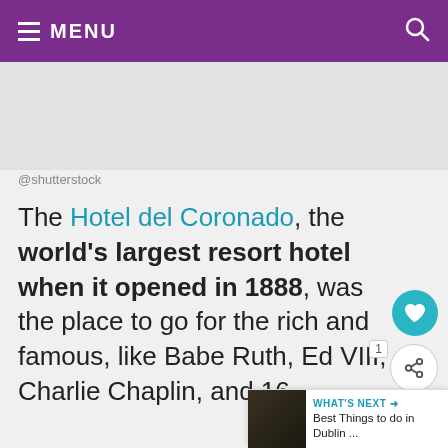MENU
@shutterstock
The Hotel del Coronado, the world’s largest resort hotel when it opened in 1888, was the place to go for the rich and famous, like Babe Ruth, Ed VIII, Charlie Chaplin, and 16